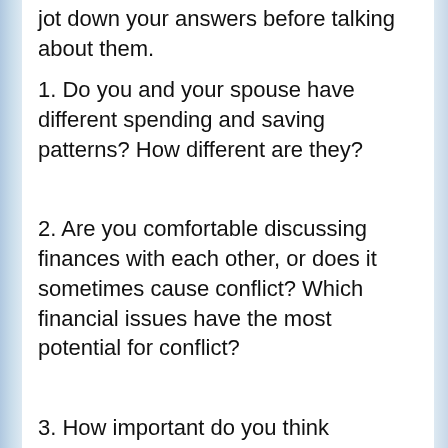jot down your answers before talking about them.
1. Do you and your spouse have different spending and saving patterns? How different are they?
2. Are you comfortable discussing finances with each other, or does it sometimes cause conflict? Which financial issues have the most potential for conflict?
3. How important do you think donating to charity is? Which charities do you (or would